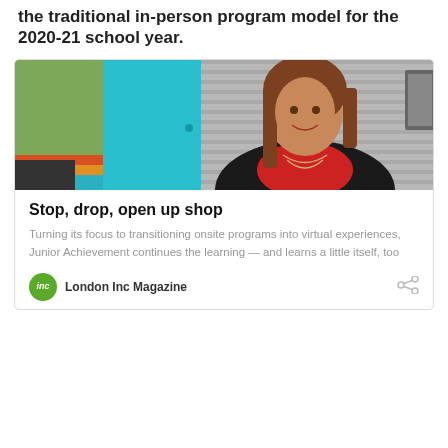the traditional in-person program model for the 2020-21 school year.
[Figure (photo): A smiling woman with long brown hair wearing a black blazer and red top, standing in front of a teal panel and green wall with colored stripes, in what appears to be a school or office setting.]
Stop, drop, open up shop
Turning its focus to transitioning onsite programs into virtual experiences, Junior Achievement continues the learning — and learns a little itself, too
London Inc Magazine